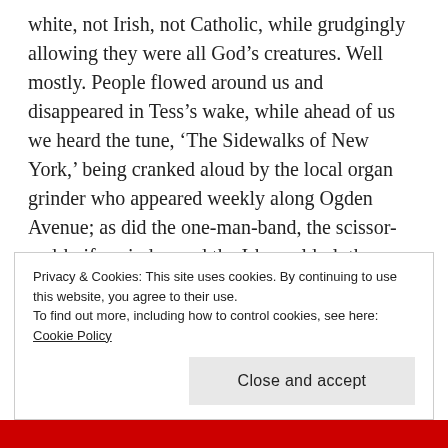white, not Irish, not Catholic, while grudgingly allowing they were all God's creatures. Well mostly. People flowed around us and disappeared in Tess's wake, while ahead of us we heard the tune, 'The Sidewalks of New York,' being cranked aloud by the local organ grinder who appeared weekly along Ogden Avenue; as did the one-man-band, the scissor-and-knife-grinder, and the I-buy-old-clothes man.)))
“Sometimes Tess and I hold hands, sometimes we don’t, like now. And while we’re walking I ask her, ‘Why was the Devil glad when he got Adam and Eve to be bad?’
Privacy & Cookies: This site uses cookies. By continuing to use this website, you agree to their use.
To find out more, including how to control cookies, see here: Cookie Policy
Close and accept